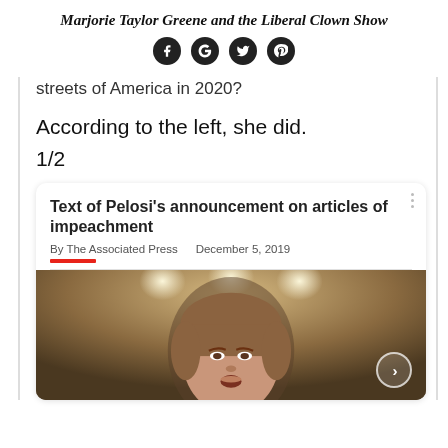Marjorie Taylor Greene and the Liberal Clown Show
[Figure (infographic): Social media share icons (Facebook, Google+, Twitter, Pinterest) as dark circular buttons]
streets of America in 2020?
According to the left, she did.
1/2
[Figure (screenshot): Embedded news article card: 'Text of Pelosi's announcement on articles of impeachment' by The Associated Press, December 5, 2019, with a photo of Nancy Pelosi speaking at a podium with lights in the background]